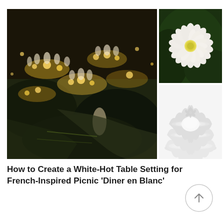[Figure (photo): Aerial view of a large outdoor evening dinner party with many guests dressed in white, illuminated by warm golden candlelight and string lights, tables and greenery visible]
[Figure (photo): Close-up of a white dahlia flower with many layered petals against a dark green leafy background]
[Figure (photo): White ruffled decorative dinnerware plates stacked, with ornate embossed floral motif, on a white background]
How to Create a White-Hot Table Setting for French-Inspired Picnic ‘Diner en Blanc’